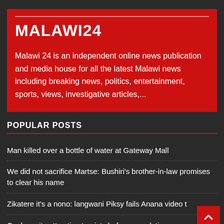MALAWI24
Malawi 24 is an independent online news publication and media house for all the latest Malawi news including breaking news, politics, entertainment, sports, views, investigative articles,...
POPULAR POSTS
Man killed over a bottle of water at Gateway Mall
We did not sacrifice Martse: Bushiri's brother-in-law promises to clear his name
Zikatere it's a nono: langwani Piksy fails Anana video t
Goshen city attracting tourists before completion